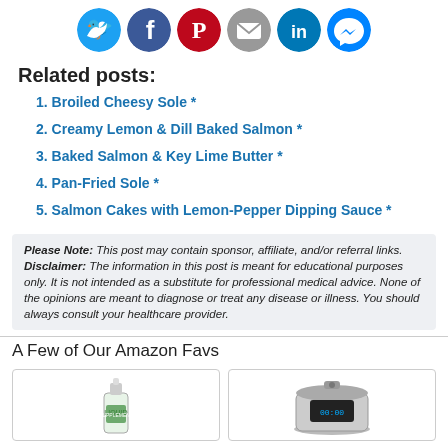[Figure (illustration): Six social media share icons in circles: Twitter (blue), Facebook (dark blue), Pinterest (red), Email/Mail (grey), LinkedIn (blue), Messenger (blue)]
Related posts:
1. Broiled Cheesy Sole *
2. Creamy Lemon & Dill Baked Salmon *
3. Baked Salmon & Key Lime Butter *
4. Pan-Fried Sole *
5. Salmon Cakes with Lemon-Pepper Dipping Sauce *
Please Note: This post may contain sponsor, affiliate, and/or referral links. Disclaimer: The information in this post is meant for educational purposes only. It is not intended as a substitute for professional medical advice. None of the opinions are meant to diagnose or treat any disease or illness. You should always consult your healthcare provider.
A Few of Our Amazon Favs
[Figure (photo): Product image of a supplement dropper bottle (green label)]
[Figure (photo): Product image of an Instant Pot pressure cooker]